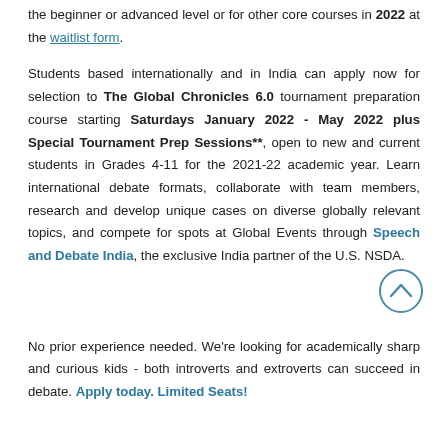the beginner or advanced level or for other core courses in 2022 at the waitlist form.
Students based internationally and in India can apply now for selection to The Global Chronicles 6.0 tournament preparation course starting Saturdays January 2022 - May 2022 plus Special Tournament Prep Sessions**, open to new and current students in Grades 4-11 for the 2021-22 academic year. Learn international debate formats, collaborate with team members, research and develop unique cases on diverse globally relevant topics, and compete for spots at Global Events through Speech and Debate India, the exclusive India partner of the U.S. NSDA.
No prior experience needed. We're looking for academically sharp and curious kids - both introverts and extroverts can succeed in debate. Apply today. Limited Seats!